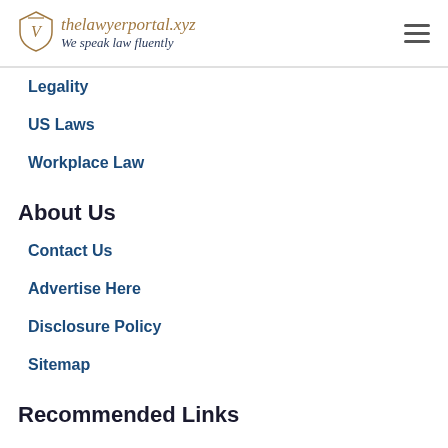thelawyerportal.xyz — We speak law fluently
Legality
US Laws
Workplace Law
About Us
Contact Us
Advertise Here
Disclosure Policy
Sitemap
Recommended Links